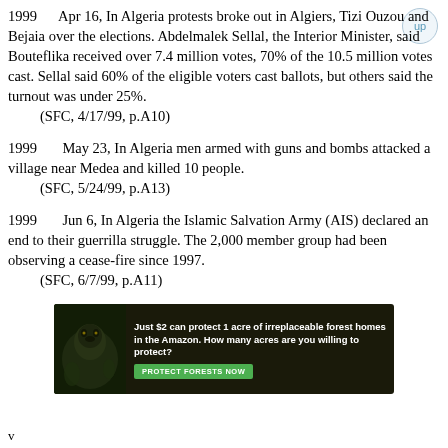1999      Apr 16, In Algeria protests broke out in Algiers, Tizi Ouzou and Bejaia over the elections. Abdelmalek Sellal, the Interior Minister, said Bouteflika received over 7.4 million votes, 70% of the 10.5 million votes cast. Sellal said 60% of the eligible voters cast ballots, but others said the turnout was under 25%.
    (SFC, 4/17/99, p.A10)
1999       May 23, In Algeria men armed with guns and bombs attacked a village near Medea and killed 10 people.
    (SFC, 5/24/99, p.A13)
1999       Jun 6, In Algeria the Islamic Salvation Army (AIS) declared an end to their guerrilla struggle. The 2,000 member group had been observing a cease-fire since 1997.
    (SFC, 6/7/99, p.A11)
[Figure (photo): Advertisement banner: dark forest background with animal photo, text 'Just $2 can protect 1 acre of irreplaceable forest homes in the Amazon. How many acres are you willing to protect?' with green 'PROTECT FORESTS NOW' button]
v